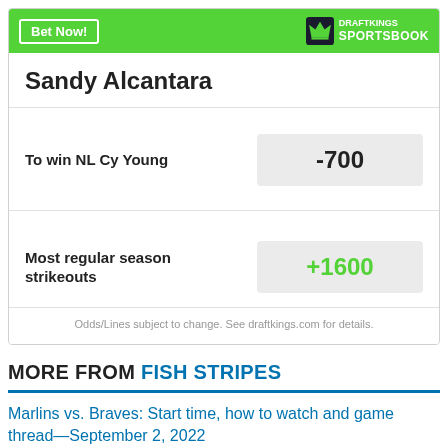[Figure (other): DraftKings Sportsbook betting widget for Sandy Alcantara showing odds for NL Cy Young (-700) and Most regular season strikeouts (+1600)]
MORE FROM FISH STRIPES
Marlins vs. Braves: Start time, how to watch and game thread—September 2, 2022
Rivalry renewed between Ronald Acuña Jr. and Marlins